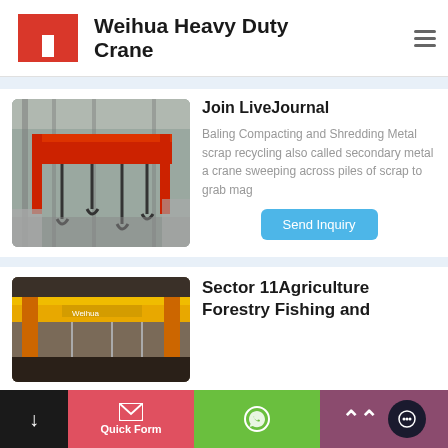Weihua Heavy Duty Crane
Join LiveJournal
Baling Compacting and Shredding Metal scrap recycling also called secondary metal a crane sweeping across piles of scrap to grab mag
[Figure (photo): Industrial crane in a metal scrap facility, red overhead crane with hooks visible]
Send Inquiry
[Figure (photo): Yellow and orange industrial crane in a warehouse setting]
Sector 11Agriculture Forestry Fishing and
Quick Form | WhatsApp | Scroll Up